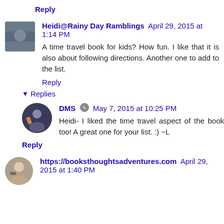Reply
Heidi@Rainy Day Ramblings April 29, 2015 at 1:14 PM
A time travel book for kids? How fun. I like that it is also about following directions. Another one to add to the list.
Reply
Replies
DMS May 7, 2015 at 10:25 PM
Heidi- I liked the time travel aspect of the book too! A great one for your list. :) ~L
Reply
https://booksthoughtsadventures.com April 29, 2015 at 1:40 PM